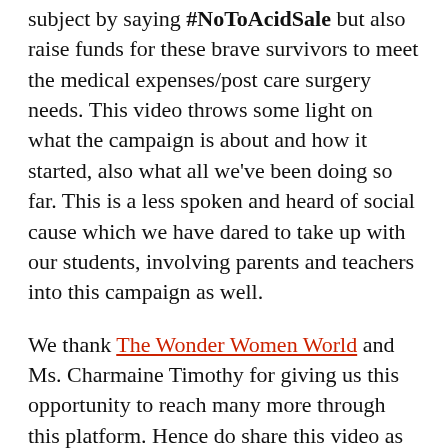subject by saying #NoToAcidSale but also raise funds for these brave survivors to meet the medical expenses/post care surgery needs. This video throws some light on what the campaign is about and how it started, also what all we've been doing so far. This is a less spoken and heard of social cause which we have dared to take up with our students, involving parents and teachers into this campaign as well.
We thank The Wonder Women World and Ms. Charmaine Timothy for giving us this opportunity to reach many more through this platform. Hence do share this video as much as possible. We are running this mini campaign over this week. Each day, one topic of the campaign will be covered in the form of videos that students have recorded for you. So, do remember to come back to watch it during this entire week for more about this noble social campaign. Through this medium, we urge you to be part of our